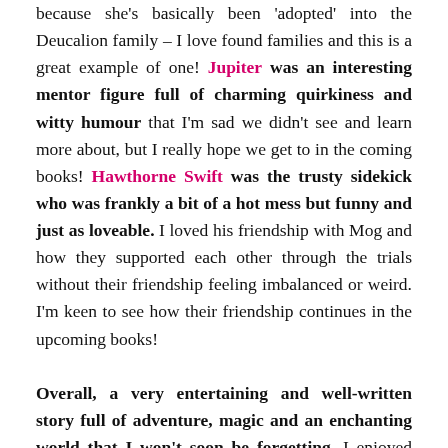because she's basically been 'adopted' into the Deucalion family – I love found families and this is a great example of one! Jupiter was an interesting mentor figure full of charming quirkiness and witty humour that I'm sad we didn't see and learn more about, but I really hope we get to in the coming books! Hawthorne Swift was the trusty sidekick who was frankly a bit of a hot mess but funny and just as loveable. I loved his friendship with Mog and how they supported each other through the trials without their friendship feeling imbalanced or weird. I'm keen to see how their friendship continues in the upcoming books!
Overall, a very entertaining and well-written story full of adventure, magic and an enchanting world that I won't soon be forgetting. I enjoyed this so much more than I expected to and I can't wait to continue with the series. Despite only reading book one so far I know the Nevermoor series is one I won't hesitate to recommend. If you're looking for a book to take your